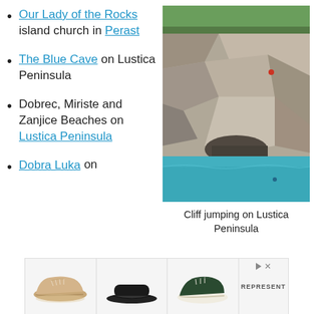Our Lady of the Rocks island church in Perast
The Blue Cave on Lustica Peninsula
Dobrec, Miriste and Zanjice Beaches on Lustica Peninsula
Dobra Luka on
[Figure (photo): Photo of cliff jumping on Lustica Peninsula — rocky limestone cliffs above turquoise water with a person visible on the rocks]
Cliff jumping on Lustica Peninsula
[Figure (photo): Advertisement banner showing three pairs of shoes and a brand logo]